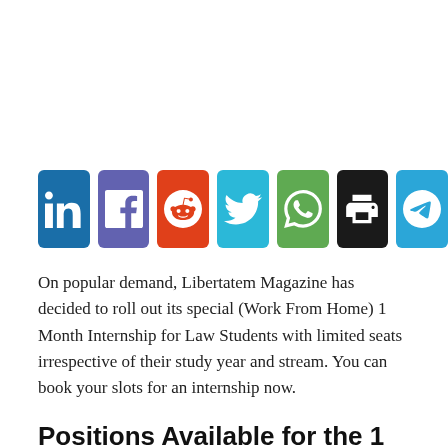[Figure (other): Row of social media sharing icons: LinkedIn (blue), Facebook (purple), Reddit (orange-red), Twitter (cyan), WhatsApp (green), Print (black), Telegram (blue)]
On popular demand, Libertatem Magazine has decided to roll out its special (Work From Home) 1 Month Internship for Law Students with limited seats irrespective of their study year and stream. You can book your slots for an internship now.
Positions Available for the 1 Month Internship for Law Students: